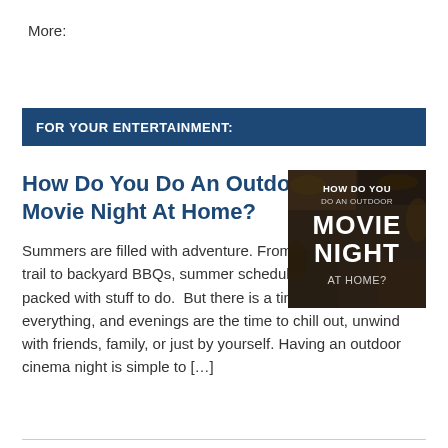More:
FOR YOUR ENTERTAINMENT:
How Do You Do An Outdoor Movie Night At Home?
[Figure (photo): Promotional image for 'How Do You Do An Outdoor Movie Night At Home?' showing text on a dark background with leaves/nature.]
Summers are filled with adventure. From exploring a hiking trail to backyard BBQs, summer schedules are usually packed with stuff to do.  But there is a time and place for everything, and evenings are the time to chill out, unwind with friends, family, or just by yourself. Having an outdoor cinema night is simple to […]